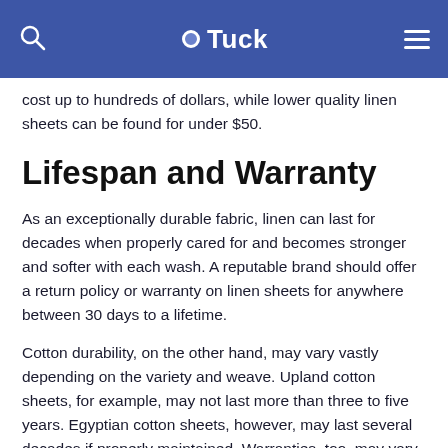Tuck
cost up to hundreds of dollars, while lower quality linen sheets can be found for under $50.
Lifespan and Warranty
As an exceptionally durable fabric, linen can last for decades when properly cared for and becomes stronger and softer with each wash. A reputable brand should offer a return policy or warranty on linen sheets for anywhere between 30 days to a lifetime.
Cotton durability, on the other hand, may vary vastly depending on the variety and weave. Upland cotton sheets, for example, may not last more than three to five years. Egyptian cotton sheets, however, may last several decades if properly maintained. Warranties, too, may vary widely; less expensive sets may come